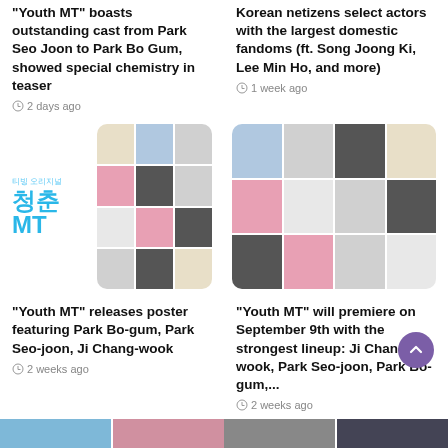“Youth MT” boasts outstanding cast from Park Seo Joon to Park Bo Gum, showed special chemistry in teaser
2 days ago
Korean netizens select actors with the largest domestic fandoms (ft. Song Joong Ki, Lee Min Ho, and more)
1 week ago
[Figure (photo): Youth MT drama logo in teal Korean text with cast photo grid]
[Figure (photo): Grid of Korean actor/actress headshots]
“Youth MT” releases poster featuring Park Bo-gum, Park Seo-joon, Ji Chang-wook
2 weeks ago
“Youth MT” will premiere on September 9th with the strongest lineup: Ji Chang-wook, Park Seo-joon, Park Bo-gum,...
2 weeks ago
[Figure (photo): Two male Korean actors, one with open mouth laughing, magenta background]
[Figure (photo): Two people in caps, muted tones]